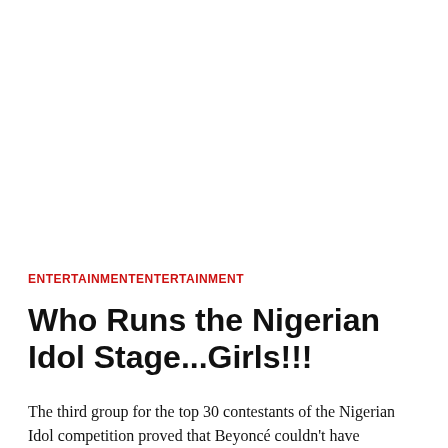ENTERTAINMENTENTERTAINMENT
Who Runs the Nigerian Idol Stage...Girls!!!
The third group for the top 30 contestants of the Nigerian Idol competition proved that Beyoncé couldn't have